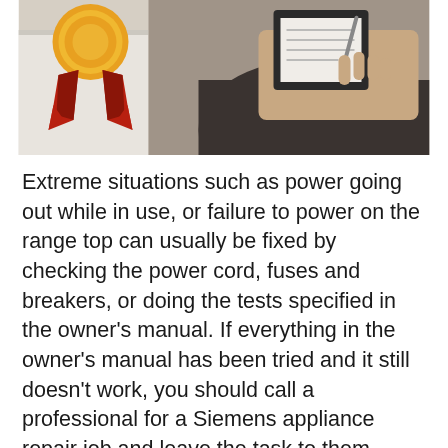[Figure (photo): A photo showing an award/achievement ribbon (orange and red ribbon with a star badge) overlaid on an image of a person in dark clothing holding a clipboard or notebook, writing something, with a white appliance visible in the background.]
Extreme situations such as power going out while in use, or failure to power on the range top can usually be fixed by checking the power cord, fuses and breakers, or doing the tests specified in the owner's manual. If everything in the owner's manual has been tried and it still doesn't work, you should call a professional for a Siemens appliance repair job and leave the task to them. Professionals know the ins and outs of a Siemens range top and other appliances and have the tools and equipment handy to troubleshoot the issue quickly. You might